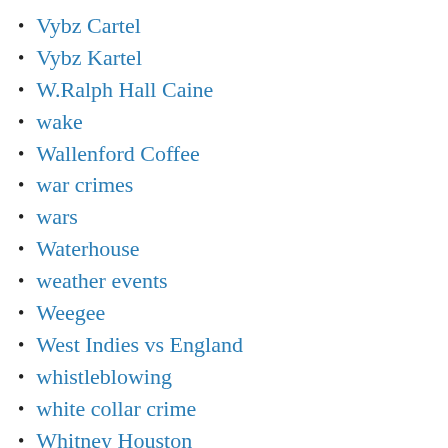Vybz Cartel
Vybz Kartel
W.Ralph Hall Caine
wake
Wallenford Coffee
war crimes
wars
Waterhouse
weather events
Weegee
West Indies vs England
whistleblowing
white collar crime
Whitney Houston
Wikileaks
Wole Soyinka